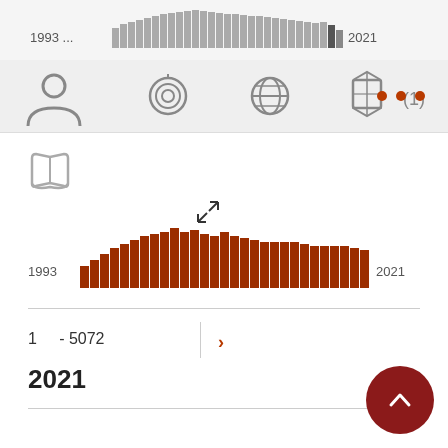[Figure (histogram): Top bar chart 1993–2021]
[Figure (screenshot): Navigation icon bar with user, fingerprint, globe, cube, (1) badge, and three dots (more) icons]
[Figure (logo): Open book icon (grey)]
[Figure (histogram): Publications 1993–2021]
1 - 5072
2021